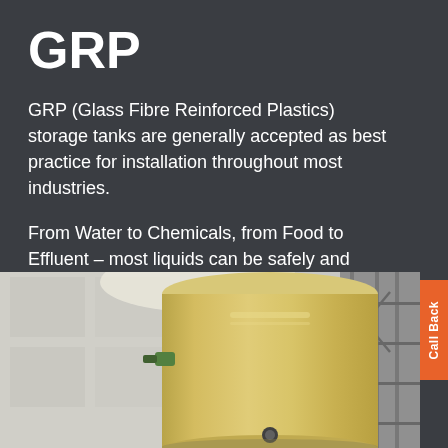GRP
GRP (Glass Fibre Reinforced Plastics) storage tanks are generally accepted as best practice for installation throughout most industries.
From Water to Chemicals, from Food to Effluent – most liquids can be safely and economically stored in GRP tanks.
[Figure (photo): GRP (Glass Fibre Reinforced Plastics) storage tank inside an industrial building. The tank is large, cylindrical, beige/tan colored, with a domed top. Metal scaffolding and building structure visible in background.]
Call Back